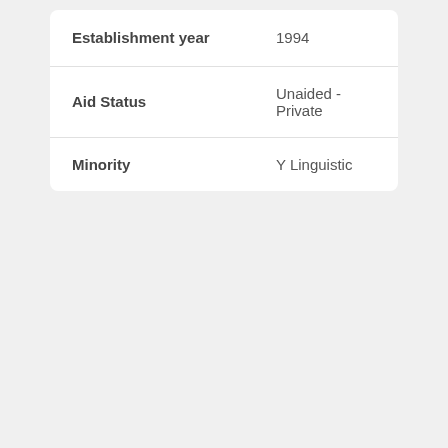| Field | Value |
| --- | --- |
| Establishment year | 1994 |
| Aid Status | Unaided - Private |
| Minority | Y Linguistic |